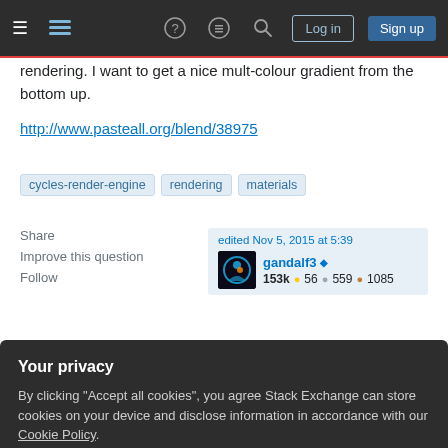Stack Exchange navigation bar with Log in and Sign up buttons
rendering. I want to get a nice mult-colour gradient from the bottom up.
http://www.pasteall.org/blend/38975
cycles-render-engine
rendering
materials
Share   Improve this question   Follow
edited Nov 5, 2015 at 5:39   gandalf3 ♦   153k ●56 ●559 ●1085
Your privacy
By clicking "Accept all cookies", you agree Stack Exchange can store cookies on your device and disclose information in accordance with our Cookie Policy.
Accept all cookies   Customize settings
without any shading, use an emission shader. See